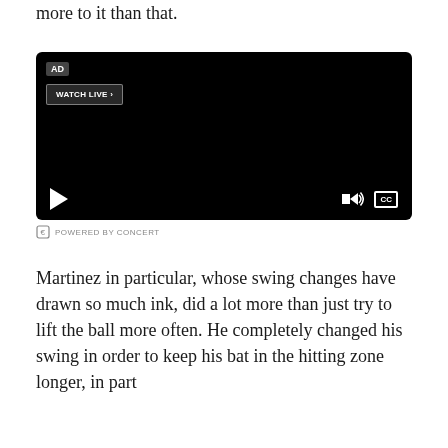more to it than that.
[Figure (screenshot): Embedded video player with black background, AD badge, WATCH LIVE button, play button, volume icon, and CC button. Powered by Concert label beneath.]
Martinez in particular, whose swing changes have drawn so much ink, did a lot more than just try to lift the ball more often. He completely changed his swing in order to keep his bat in the hitting zone longer, in part by studying Miguel Cabrera and how to get to impact